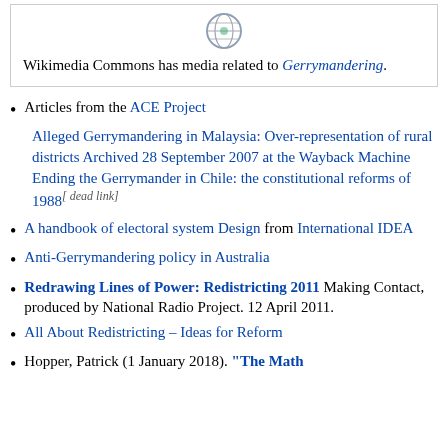[Figure (logo): Wikimedia Commons icon with globe and gears]
Wikimedia Commons has media related to Gerrymandering.
Articles from the ACE Project
Alleged Gerrymandering in Malaysia: Over-representation of rural districts Archived 28 September 2007 at the Wayback Machine
Ending the Gerrymander in Chile: the constitutional reforms of 1988[ dead link]
A handbook of electoral system Design from International IDEA
Anti-Gerrymandering policy in Australia
Redrawing Lines of Power: Redistricting 2011 Making Contact, produced by National Radio Project. 12 April 2011.
All About Redistricting – Ideas for Reform
Hopper, Patrick (1 January 2018). "The Math